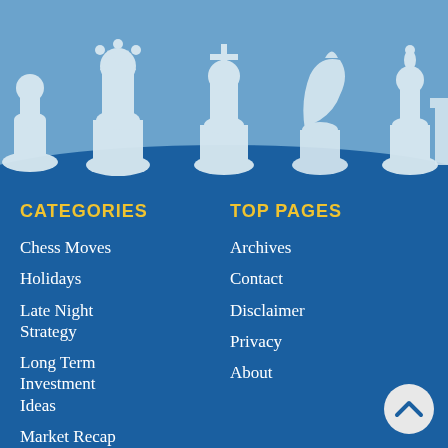[Figure (illustration): Chess pieces silhouettes in white on a light blue background forming a decorative header banner]
CATEGORIES
TOP PAGES
Chess Moves
Archives
Holidays
Contact
Late Night Strategy
Disclaimer
Long Term Investment Ideas
Privacy
Market Recap
About
Movies
Trading Id...